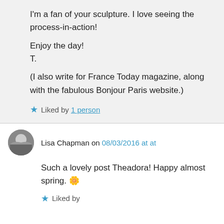I'm a fan of your sculpture. I love seeing the process-in-action!

Enjoy the day!
T.

(I also write for France Today magazine, along with the fabulous Bonjour Paris website.)
Liked by 1 person
Lisa Chapman on 08/03/2016 at at
Such a lovely post Theadora! Happy almost spring. 🌼
Liked by 1 person